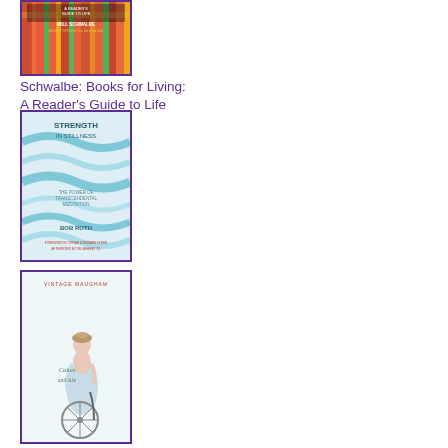[Figure (illustration): Book cover of 'Books for Living: A Reader's Guide to Life' by Will Schwalbe, with colorful abstract design in red, green, and orange.]
Schwalbe: Books for Living: A Reader's Guide to Life
[Figure (illustration): Book cover of 'Strength in Stillness: The Power of Transcendental Meditation' by Bob Roth, with wavy teal/blue lines on light background.]
Bob Roth: Strength in Stillness
[Figure (illustration): Book cover of 'Cakes and Ale' by W. Somerset Maugham, Vintage edition, showing an Edwardian woman with a bicycle.]
W. Somerset